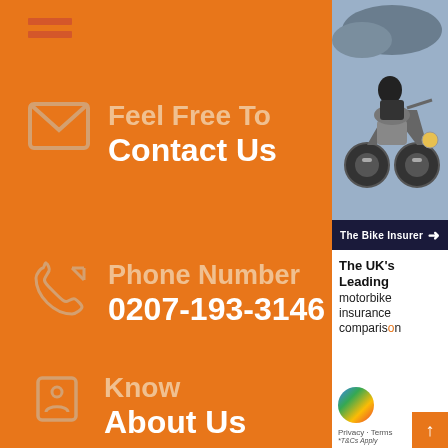[Figure (illustration): Hamburger menu icon (three orange bars) on orange background]
Feel Free To Contact Us
Phone Number 0207-193-3146
Know About Us
[Figure (photo): Sidebar advertisement showing a motorcycle/bike with rider, The Bike Insurer branding, and text: The UK's Leading motorbike insurance comparison. Includes Google logo and privacy/terms links.]